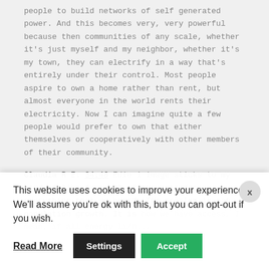people to build networks of self generated power. And this becomes very, very powerful because then communities of any scale, whether it's just myself and my neighbor, whether it's my town, they can electrify in a way that's entirely under their control. Most people aspire to own a home rather than rent, but almost everyone in the world rents their electricity. Now I can imagine quite a few people would prefer to own that either themselves or cooperatively with other members of their community.
Claudia R E: 34:46 Edie 1 image sticks to my mind of like from all of the episodes, everything that we heard. The problem is not population growth. It is how we have access, I mean, if all energy life...
This website uses cookies to improve your experience. We'll assume you're ok with this, but you can opt-out if you wish. Read More | Settings | Accept